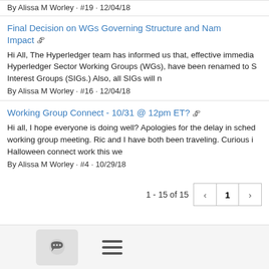By Alissa M Worley · #19 · 12/04/18
Final Decision on WGs Governing Structure and Nam Impact 📎
Hi All, The Hyperledger team has informed us that, effective immedia Hyperledger Sector Working Groups (WGs), have been renamed to S Interest Groups (SIGs.) Also, all SIGs will n
By Alissa M Worley · #16 · 12/04/18
Working Group Connect - 10/31 @ 12pm ET? 📎
Hi all, I hope everyone is doing well? Apologies for the delay in sched working group meeting. Ric and I have both been traveling. Curious i Halloween connect work this we
By Alissa M Worley · #4 · 10/29/18
1 - 15 of 15